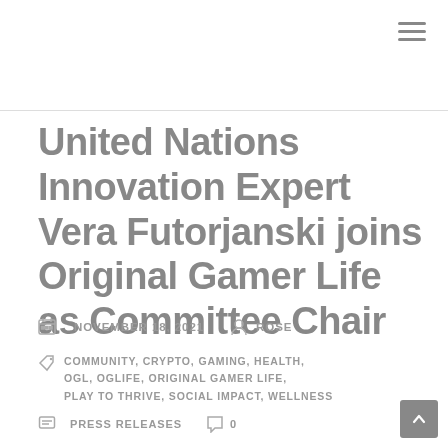United Nations Innovation Expert Vera Futorjanski joins Original Gamer Life as Committee Chair
NOVEMBER 18, 2021   ROSE
COMMUNITY, CRYPTO, GAMING, HEALTH, OGL, OGLIFE, ORIGINAL GAMER LIFE, PLAY TO THRIVE, SOCIAL IMPACT, WELLNESS
PRESS RELEASES   0
Original Gamer Life proudly welcomes global ambassador